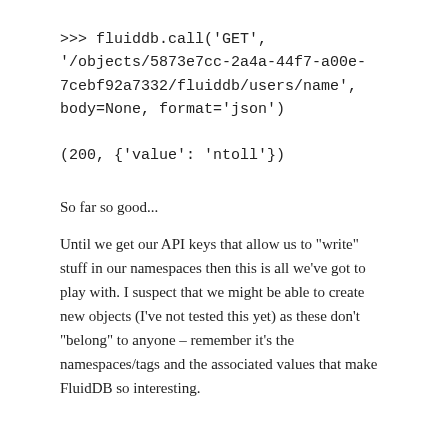>>> fluiddb.call('GET', '/objects/5873e7cc-2a4a-44f7-a00e-7cebf92a7332/fluiddb/users/name', body=None, format='json')

(200, {'value': 'ntoll'})
So far so good...
Until we get our API keys that allow us to "write" stuff in our namespaces then this is all we've got to play with. I suspect that we might be able to create new objects (I've not tested this yet) as these don't "belong" to anyone – remember it's the namespaces/tags and the associated values that make FluidDB so interesting.